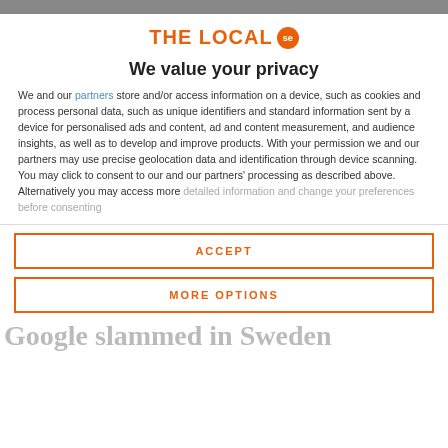[Figure (logo): The Local se logo — orange text with orange circle badge]
We value your privacy
We and our partners store and/or access information on a device, such as cookies and process personal data, such as unique identifiers and standard information sent by a device for personalised ads and content, ad and content measurement, and audience insights, as well as to develop and improve products. With your permission we and our partners may use precise geolocation data and identification through device scanning. You may click to consent to our and our partners' processing as described above. Alternatively you may access more detailed information and change your preferences before consenting
ACCEPT
MORE OPTIONS
Google slammed in Sweden